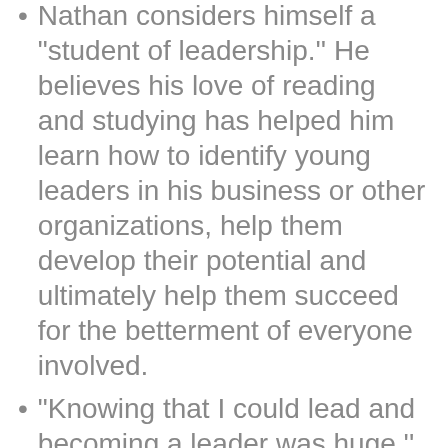Nathan considers himself a "student of leadership." He believes his love of reading and studying has helped him learn how to identify young leaders in his business or other organizations, help them develop their potential and ultimately help them succeed for the betterment of everyone involved.
"Knowing that I could lead and becoming a leader was huge," Nathan says, a self-described introvert, but being able to own and recognize your own capacity to lead and inspire is key for helping guide a team.
Nathan relays an experience that